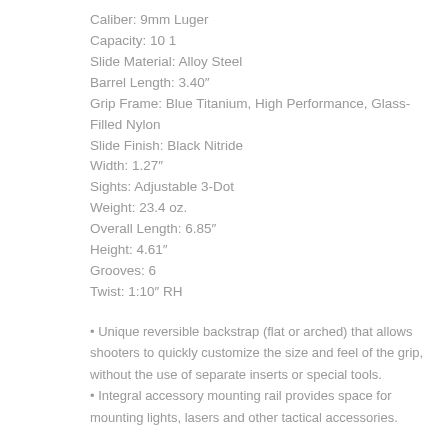Caliber: 9mm Luger
Capacity: 10 1
Slide Material: Alloy Steel
Barrel Length: 3.40"
Grip Frame: Blue Titanium, High Performance, Glass-Filled Nylon
Slide Finish: Black Nitride
Width: 1.27"
Sights: Adjustable 3-Dot
Weight: 23.4 oz.
Overall Length: 6.85"
Height: 4.61"
Grooves: 6
Twist: 1:10" RH
• Unique reversible backstrap (flat or arched) that allows shooters to quickly customize the size and feel of the grip, without the use of separate inserts or special tools.
• Integral accessory mounting rail provides space for mounting lights, lasers and other tactical accessories.